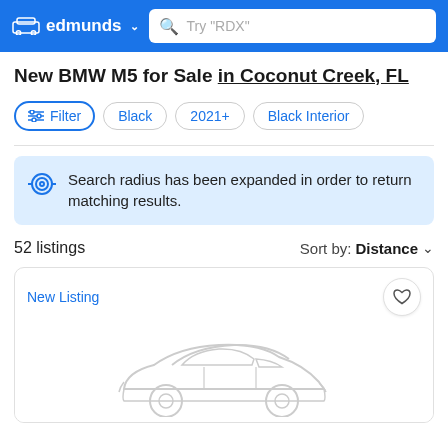edmunds — Search bar: Try "RDX"
New BMW M5 for Sale in Coconut Creek, FL
Filter · Black · 2021+ · Black Interior
Search radius has been expanded in order to return matching results.
52 listings   Sort by: Distance
New Listing